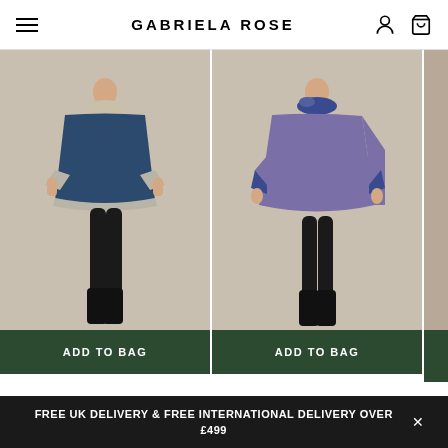GABRIELA ROSE
[Figure (photo): Model wearing a navy/airforce blue cape with silver trim cuffs and collar, black skinny trousers and black ankle boots, standing on a beige background. Green 'ADD TO BAG' button overlay at bottom.]
[Figure (photo): Model wearing a lavender/purple cape with patterned trim, black skinny trousers and black ankle boots, standing on a beige background. Green 'ADD TO BAG' button overlay at bottom.]
Venetian Cape (Airforce Blue)
Venetian Cape (Lavender)
£350.00
FREE UK DELIVERY & FREE INTERNATIONAL DELIVERY OVER £499